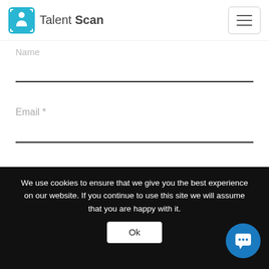Talent Scan
Name *
Email *
Website
Post Comment
We use cookies to ensure that we give you the best experience on our website. If you continue to use this site we will assume that you are happy with it.
Ok